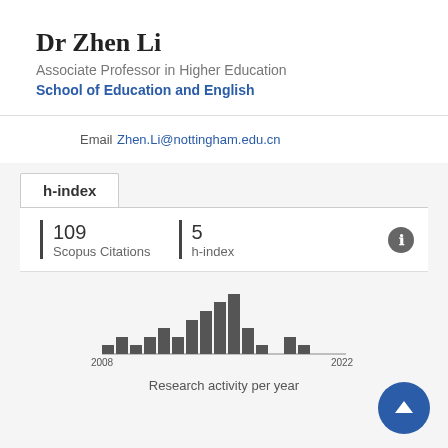Dr Zhen Li
Associate Professor in Higher Education
School of Education and English
Email
Zhen.Li@nottingham.edu.cn
h-index
| Metric | Value |
| --- | --- |
| Scopus Citations | 109 |
| h-index | 5 |
[Figure (bar-chart): Research activity per year]
Research activity per year